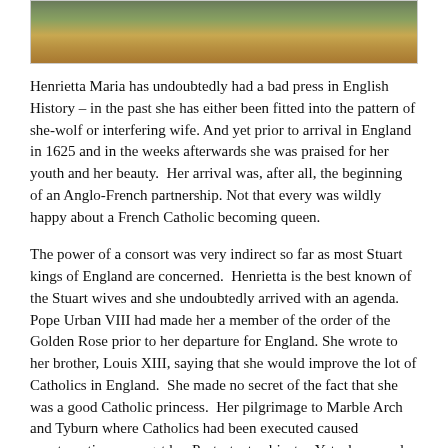[Figure (photo): Partial view of a painting showing figures in historical dress, cropped at the top of the page]
Henrietta Maria has undoubtedly had a bad press in English History – in the past she has either been fitted into the pattern of she-wolf or interfering wife. And yet prior to arrival in England in 1625 and in the weeks afterwards she was praised for her youth and her beauty.  Her arrival was, after all, the beginning of an Anglo-French partnership. Not that every was wildly happy about a French Catholic becoming queen.
The power of a consort was very indirect so far as most Stuart kings of England are concerned.  Henrietta is the best known of the Stuart wives and she undoubtedly arrived with an agenda.  Pope Urban VIII had made her a member of the order of the Golden Rose prior to her departure for England. She wrote to her brother, Louis XIII, saying that she would improve the lot of Catholics in England.  She made no secret of the fact that she was a good Catholic princess.  Her pilgrimage to Marble Arch and Tyburn where Catholics had been executed caused consternation amongst her Protestant subjects.  Yet, she was also supposed to engineer a firm Anglo-French alliance.  She was fifteen and it was